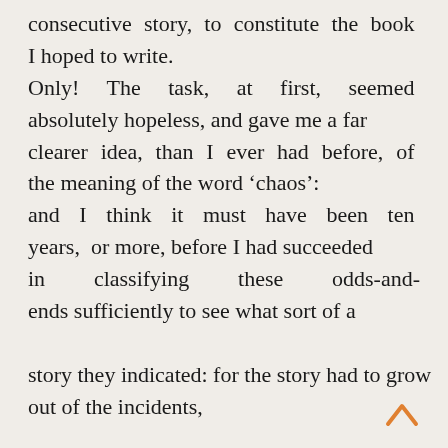consecutive story, to constitute the book I hoped to write. Only! The task, at first, seemed absolutely hopeless, and gave me a far clearer idea, than I ever had before, of the meaning of the word 'chaos': and I think it must have been ten years, or more, before I had succeeded in classifying these odds-and-ends sufficiently to see what sort of a story they indicated: for the story had to grow out of the incidents, not the incidents out of the story, I castelline all